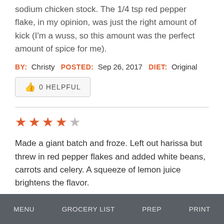sodium chicken stock. The 1/4 tsp red pepper flake, in my opinion, was just the right amount of kick (I'm a wuss, so this amount was the perfect amount of spice for me).
BY: Christy  POSTED: Sep 26, 2017  DIET: Original
0 HELPFUL
★★★★☆
Made a giant batch and froze. Left out harissa but threw in red pepper flakes and added white beans, carrots and celery. A squeeze of lemon juice brightens the flavor.
BY: Felice  POSTED: Jan 09, 2017  DIET: Original
MENU  GROCERY LIST  PREP  PRINT